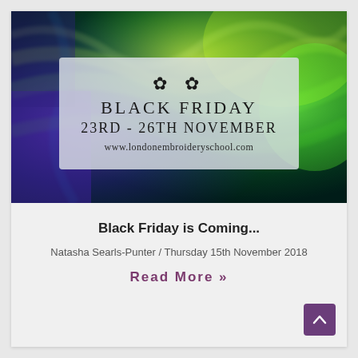[Figure (photo): Iridescent peacock feather background in green, blue and purple tones, with a semi-transparent overlay box containing leaf icons, BLACK FRIDAY text, dates 23RD - 26TH NOVEMBER, and website www.londonembroideryschool.com]
Black Friday is Coming...
Natasha Searls-Punter / Thursday 15th November 2018
Read More »